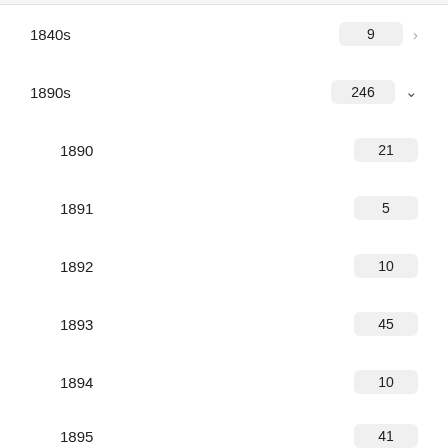1840s  9
1890s  246
1890  21
1891  5
1892  10
1893  45
1894  10
1895  41
DATE
Remove All Filters